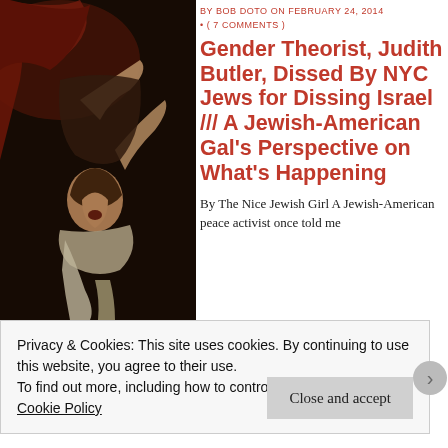[Figure (photo): Baroque painting (likely Caravaggio) depicting a dramatic scene with figures, dark background with red drapery]
BY BOB DOTO ON FEBRUARY 24, 2014 • ( 7 COMMENTS )
Gender Theorist, Judith Butler, Dissed By NYC Jews for Dissing Israel /// A Jewish-American Gal's Perspective on What's Happening
By The Nice Jewish Girl A Jewish-American peace activist once told me
Privacy & Cookies: This site uses cookies. By continuing to use this website, you agree to their use.
To find out more, including how to control cookies, see here: Cookie Policy
Close and accept